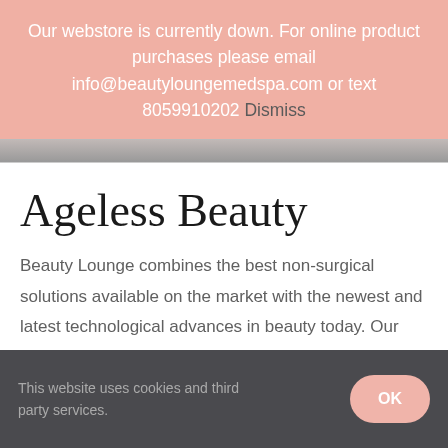Our webstore is currently down. For online product purchases please email info@beautyloungemedspa.com or text 8059910202 Dismiss
[Figure (photo): Partial photo strip, muted gray tones]
Ageless Beauty
Beauty Lounge combines the best non-surgical solutions available on the market with the newest and latest technological advances in beauty today. Our extensive range of med spa services includes a
This website uses cookies and third party services.
OK